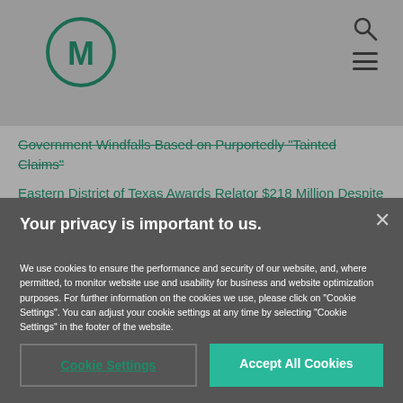[Figure (logo): Circular logo with letter M in dark green]
Government Windfalls Based on Purportedly "Tainted Claims"
Eastern District of Texas Awards Relator $218 Million Despite Fifth Circuit Caution That Claims Not Likely
Your privacy is important to us.
We use cookies to ensure the performance and security of our website, and, where permitted, to monitor website use and usability for business and website optimization purposes. For further information on the cookies we use, please click on "Cookie Settings". You can adjust your cookie settings at any time by selecting "Cookie Settings" in the footer of the website.
Cookie Settings
Accept All Cookies